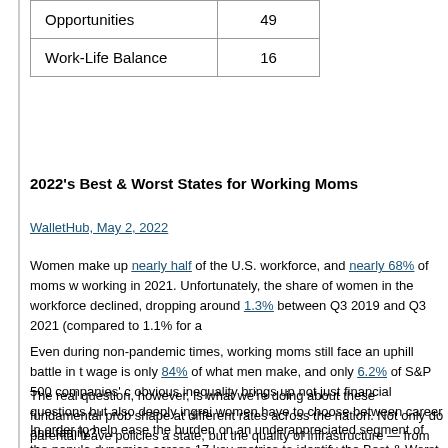| Opportunities | 49 |
| Work-Life Balance | 16 |
2022's Best & Worst States for Working Moms
WalletHub, May 2, 2022
Women make up nearly half of the U.S. workforce, and nearly 68% of moms were working in 2021. Unfortunately, the share of women in the workforce declined, dropping around 1.3% between Q3 2019 and Q3 2021 (compared to 1.1% for m…
Even during non-pandemic times, working moms still face an uphill battle in t… wage is only 84% of what men make, and only 6.2% of S&P 500 companies' c… obvious inequality brings up not just financial questions but also deeply ingrai… women have to choose between career and family?
The real question, however, is what we're doing about these fundamental prob… shape at different rates across the nation. Not only do parental leave policies a… state, but the quality of infrastructure — from cost-effective day care to public…
In order to help ease the burden on an underappreciated segment of the popula… dynamics across 17 key metrics to identify the Best & Worst States for Worki…